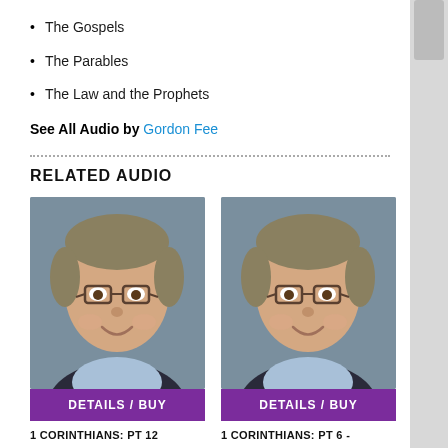The Gospels
The Parables
The Law and the Prophets
See All Audio by Gordon Fee
RELATED AUDIO
[Figure (photo): Headshot of a middle-aged man with glasses and grey-brown hair, smiling, wearing a dark blazer and light blue shirt, against a grey background]
[Figure (photo): Headshot of the same man, same pose and clothing, against a grey background]
1 CORINTHIANS: PT 12
1 CORINTHIANS: PT 6 -